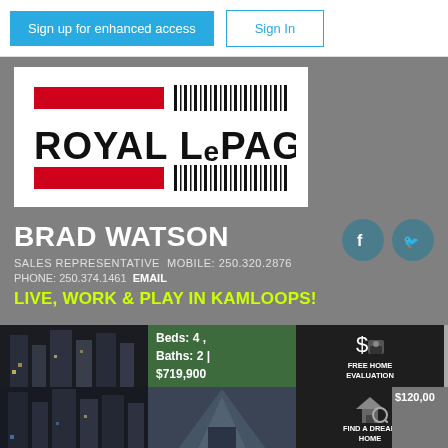Sign up for enhanced access | Sign In
[Figure (logo): Royal LePage logo with red bars and barcode-style lines]
BRAD WATSON
SALES REPRESENTATIVE  MOBILE: 250.320.2876
PHONE: 250.374.1461  EMAIL
LIVE, WORK & PLAY IN KAMLOOPS!
[Figure (photo): City buildings at night]
[Figure (photo): Property listing: Beds: 4, Baths: 2 | $719,900]
[Figure (infographic): Free Home Evaluation icon with dollar sign]
[Figure (photo): Calculator and financial charts]
[Figure (photo): Modern architecture building]
[Figure (infographic): Find a Dream Home icon]
[Figure (photo): Property photo with $120,00 price tag]